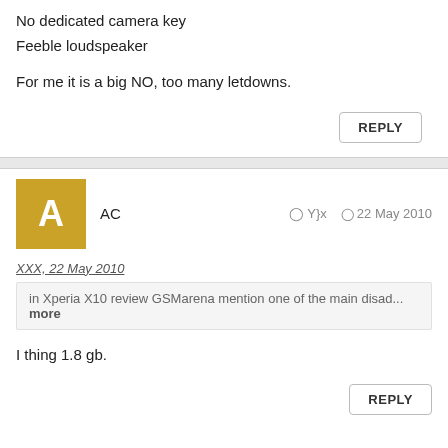No dedicated camera key
Feeble loudspeaker
For me it is a big NO, too many letdowns.
AC   Y}x   22 May 2010
XXX, 22 May 2010
in Xperia X10 review GSMarena mention one of the main disad... more
I thing 1.8 gb.